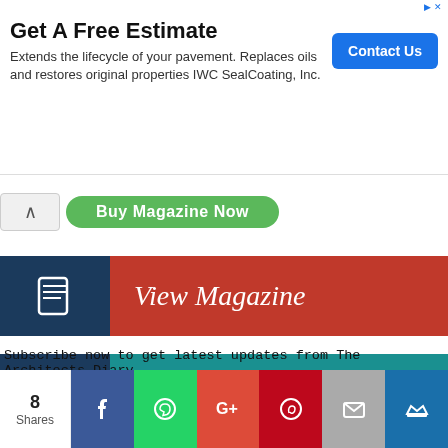[Figure (screenshot): Advertisement banner: 'Get A Free Estimate' with text 'Extends the lifecycle of your pavement. Replaces oils and restores original properties IWC SealCoating, Inc.' and a blue 'Contact Us' button]
Buy Magazine Now
View Magazine
Publish your work
Subscribe now to get latest updates from The Architects Diary.
Name
8 Shares